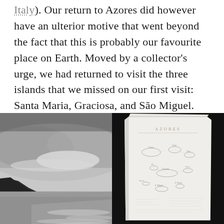Italy). Our return to Azores did however have an ulterior motive that went beyond the fact that this is probably our favourite place on Earth. Moved by a collector's urge, we had returned to visit the three islands that we missed on our first visit: Santa Maria, Graciosa, and São Miguel.
[Figure (photo): Black and white photograph of a dramatic coastal scene with a clifftop headland on the left, dark moody clouds, and ocean waves breaking on a beach in the foreground.]
[Figure (photo): Photograph of a hand-drawn map of the Azores islands on white paper, placed against a dark/black background. The map shows island outlines with handwritten labels including 'AZORES' at the top.]